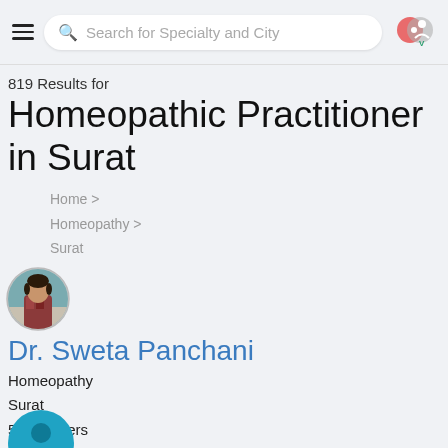Search for Specialty and City
819 Results for
Homeopathic Practitioner in Surat
Home > Homeopathy > Surat
[Figure (photo): Circular profile photo of Dr. Sweta Panchani]
Dr. Sweta Panchani
Homeopathy
Surat
52 followers
[Figure (photo): Partial circular avatar in teal/blue at the bottom of the page]